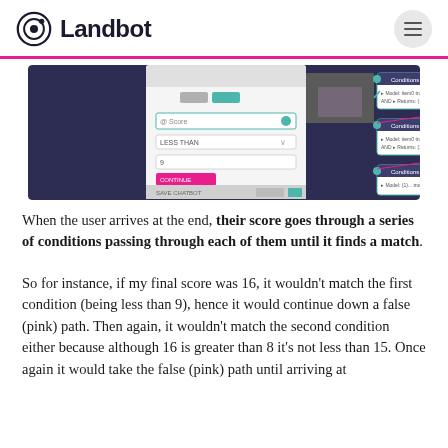Landbot
[Figure (screenshot): Screenshot of a Landbot chatbot builder interface showing a conditions panel on the left with fields including LESS THAN and a value of 9, alongside a flowchart-style builder on the right displaying multiple Conditions nodes connected by paths]
When the user arrives at the end, their score goes through a series of conditions passing through each of them until it finds a match.
So for instance, if my final score was 16, it wouldn't match the first condition (being less than 9), hence it would continue down a false (pink) path. Then again, it wouldn't match the second condition either because although 16 is greater than 8 it's not less than 15. Once again it would take the false (pink) path until arriving at